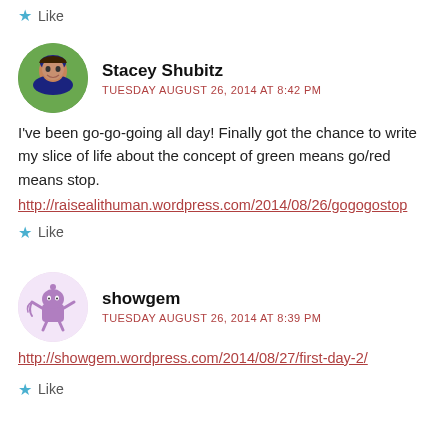Like
[Figure (photo): Circular avatar photo of Stacey Shubitz, a woman with dark hair outdoors with green background]
Stacey Shubitz
TUESDAY AUGUST 26, 2014 AT 8:42 PM
I've been go-go-going all day! Finally got the chance to write my slice of life about the concept of green means go/red means stop.
http://raisealithuman.wordpress.com/2014/08/26/gogogostop
Like
[Figure (illustration): Circular avatar illustration of a purple cartoon creature character (showgem) on light pink background]
showgem
TUESDAY AUGUST 26, 2014 AT 8:39 PM
http://showgem.wordpress.com/2014/08/27/first-day-2/
Like